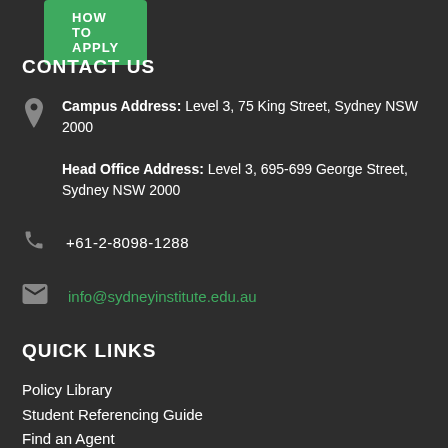HOW TO APPLY
CONTACT US
Campus Address: Level 3, 75 King Street, Sydney NSW 2000
Head Office Address: Level 3, 695-699 George Street, Sydney NSW 2000
+61-2-8098-1288
info@sydneyinstitute.edu.au
QUICK LINKS
Policy Library
Student Referencing Guide
Find an Agent